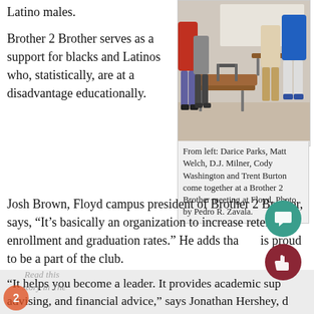Latino males.
Brother 2 Brother serves as a support for blacks and Latinos who, statistically, are at a disadvantage educationally.
[Figure (photo): Students standing around desks in a classroom at a Brother 2 Brother meeting at Floyd.]
From left: Darice Parks, Matt Welch, D.J. Milner, Cody Washington and Trent Burton come together at a Brother 2 Brother meeting at Floyd. Photo by Pedro R. Zavala.
Josh Brown, Floyd campus president of Brother 2 Brother, says, “It’s basically an organization to increase retention, enrollment and graduation rates.” He adds that he is proud to be a part of the club.
“It helps you become a leader. It provides academic support, advising, and financial advice,” says Jonathan Hershey, d…